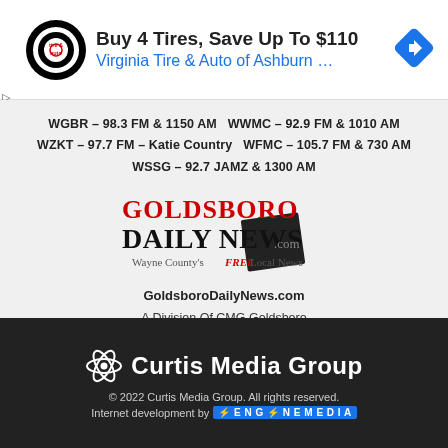[Figure (screenshot): Advertisement banner for Virginia Tire & Auto of Ashburn. Shows a circular logo, headline 'Buy 4 Tires, Save Up To $110', subtitle 'Virginia Tire & Auto of Ashburn ...', and a navigation diamond icon on the right.]
WGBR – 98.3 FM & 1150 AM  WWMC – 92.9 FM & 1010 AM
WZKT – 97.7 FM – Katie Country  WFMC – 105.7 FM & 730 AM
WSSG – 92.7 JAMZ & 1300 AM
[Figure (logo): Goldsboro Daily News logo — GOLDSBORO in red, DAILY NEWS in black large serif, .com in grey, with tagline 'Wayne County's FREE Local News' and a tilted black square behind the text.]
GoldsboroDailyNews.com
A Division Of CMG Goldsboro
EEO | Employment | FCC Applications
[Figure (logo): Facebook icon — blue rounded square with white 'f' letter.]
Curtis Media Group
© 2022 Curtis Media Group. All rights reserved.
Internet development by ENGINE MEDIA